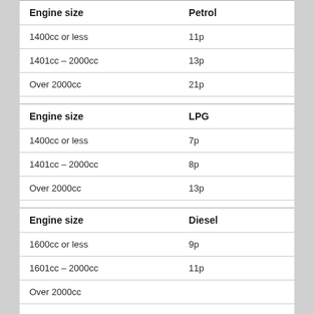| Engine size | Petrol |
| --- | --- |
| 1400cc or less | 11p |
| 1401cc – 2000cc | 13p |
| Over 2000cc | 21p |
| Engine size | LPG |
| --- | --- |
| 1400cc or less | 7p |
| 1401cc – 2000cc | 8p |
| Over 2000cc | 13p |
| Engine size | Diesel |
| --- | --- |
| 1600cc or less | 9p |
| 1601cc – 2000cc | 11p |
| Over 2000cc | ... |